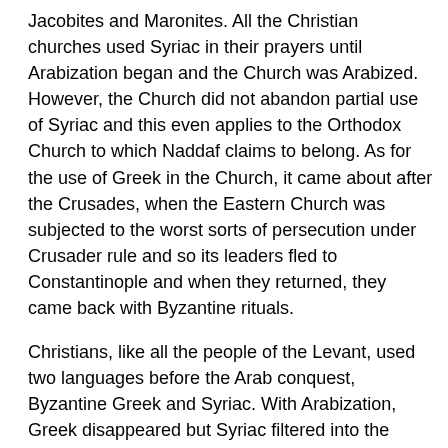Jacobites and Maronites. All the Christian churches used Syriac in their prayers until Arabization began and the Church was Arabized. However, the Church did not abandon partial use of Syriac and this even applies to the Orthodox Church to which Naddaf claims to belong. As for the use of Greek in the Church, it came about after the Crusades, when the Eastern Church was subjected to the worst sorts of persecution under Crusader rule and so its leaders fled to Constantinople and when they returned, they came back with Byzantine rituals.
Christians, like all the people of the Levant, used two languages before the Arab conquest, Byzantine Greek and Syriac. With Arabization, Greek disappeared but Syriac filtered into the Arabic language and became a fundamental part of that langauge. Syriac was only preserved partially, in northern Mount Lebanon and among the Surianis or the Syriac Orthodox living in the Jezira. The Syriac identity of the Maronites dissapeared with their Latinization, that is, their incorporation into the Church of Rome, while the Syriac identity of the Surianis has been subjected to many trials, chief among them the slaughter in their villages in Turkey